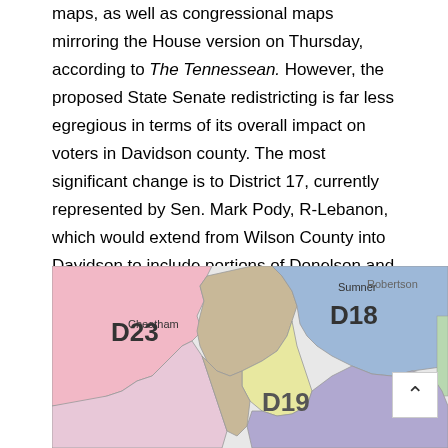maps, as well as congressional maps mirroring the House version on Thursday, according to The Tennessean. However, the proposed State Senate redistricting is far less egregious in terms of its overall impact on voters in Davidson county. The most significant change is to District 17, currently represented by Sen. Mark Pody, R-Lebanon, which would extend from Wilson County into Davidson to include portions of Donelson and Hermitage, along with areas near the Nashville International Airport and Percy Priest Lake. The proposed map for State Senate Districts can be seen below:
[Figure (map): Proposed State Senate Districts map showing districts D18, D19, D23 with county labels Robertson, Sumner, Cheatham visible. D23 (pink) on left, D18 (blue) upper right, D19 (yellow) center, tan area in center-left.]